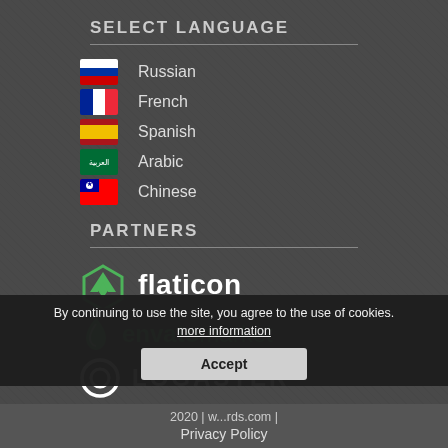SELECT LANGUAGE
Russian
French
Spanish
Arabic
Chinese
PARTNERS
[Figure (logo): Flaticon logo - green chevron/triangle icon with text 'flaticon' in white bold font]
[Figure (logo): Envato Market logo - green leaf icon with 'envato' in bold green and 'market' in regular green]
[Figure (logo): Logaster logo - white circle outline icon with 'LOGASTER' in white uppercase letters]
By continuing to use the site, you agree to the use of cookies. more information
Accept
2020 | w...rds.com |
Privacy Policy